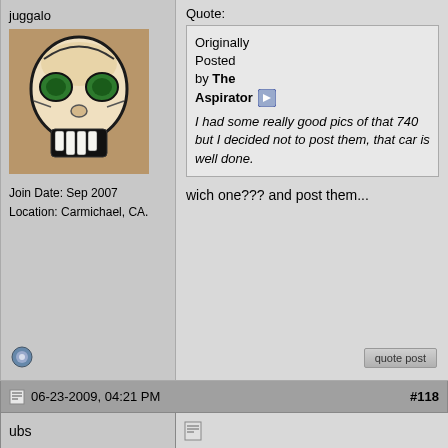juggalo
[Figure (photo): Tattoo photo showing a skull/clown face design in black and green ink]
Join Date: Sep 2007
Location: Carmichael, CA.
Quote: Originally Posted by The Aspirator — I had some really good pics of that 740 but I decided not to post them, that car is well done.
wich one??? and post them...
06-23-2009, 04:21 PM   #118
ubs